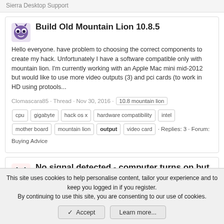Sierra Desktop Support
Build Old Mountain Lion 10.8.5
Hello everyone. have problem to choosing the correct components to create my hack. Unfortunately I have a software compatible only with mountain lion. I'm currently working with an Apple Mac mini mid-2012 but would like to use more video outputs (3) and pci cards (to work in HD using protools...
Clomascara85 · Thread · Nov 30, 2016 · 10.8 mountain lion cpu gigabyte hack os x hardware compatibility intel mother board mountain lion output video card · Replies: 3 · Forum: Buying Advice
No signal detected - computer turns on but no display output
I have built a computer (over a year ago) which I originally put yosemite on, which i replaced with Windows 10. However I
This site uses cookies to help personalise content, tailor your experience and to keep you logged in if you register.
By continuing to use this site, you are consenting to our use of cookies.